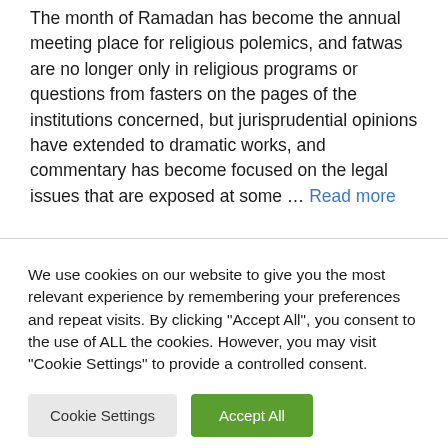The month of Ramadan has become the annual meeting place for religious polemics, and fatwas are no longer only in religious programs or questions from fasters on the pages of the institutions concerned, but jurisprudential opinions have extended to dramatic works, and commentary has become focused on the legal issues that are exposed at some … Read more
We use cookies on our website to give you the most relevant experience by remembering your preferences and repeat visits. By clicking "Accept All", you consent to the use of ALL the cookies. However, you may visit "Cookie Settings" to provide a controlled consent.